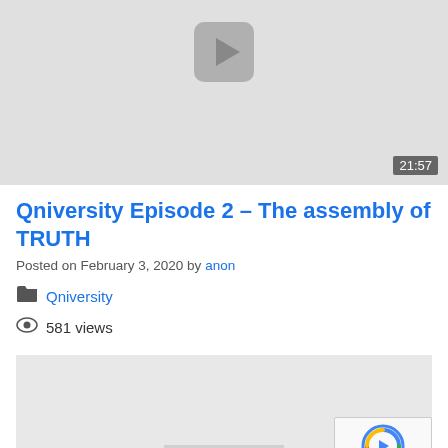[Figure (screenshot): Video thumbnail with play button icon, light gray background, timestamp 21:57 in bottom right corner]
Qniversity Episode 2 – The assembly of TRUTH
Posted on February 3, 2020 by anon
Qniversity
581 views
[Figure (screenshot): Second video thumbnail, light gray background with reCAPTCHA badge in bottom right corner]